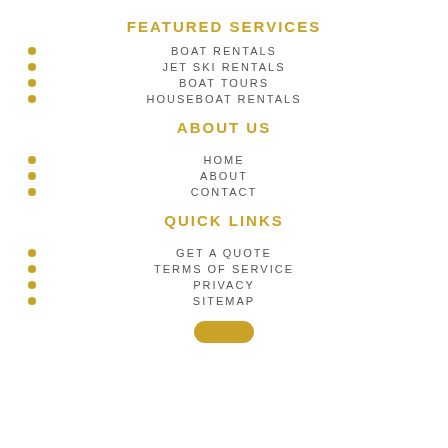FEATURED SERVICES
BOAT RENTALS
JET SKI RENTALS
BOAT TOURS
HOUSEBOAT RENTALS
ABOUT US
HOME
ABOUT
CONTACT
QUICK LINKS
GET A QUOTE
TERMS OF SERVICE
PRIVACY
SITEMAP